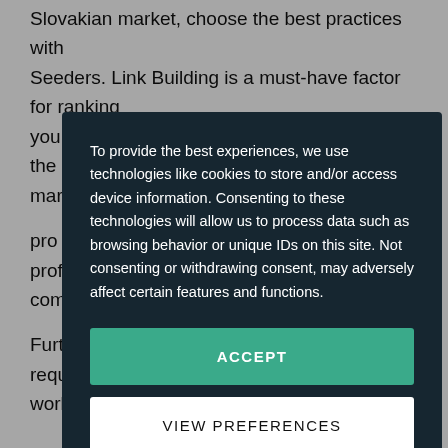if you want your website to be positioned high in the Slovakian market, choose the best practices with Seeders. Link Building is a must-have factor for ranking your website; without it, you can't survive in the Slovakian mar[ket.] pro[fessional] prof[iles] [and a] com[pany.] Furt[hermore,] requ[ires] [an] work[...]
Wan[t...] Slo[vakian...]
To provide the best experiences, we use technologies like cookies to store and/or access device information. Consenting to these technologies will allow us to process data such as browsing behavior or unique IDs on this site. Not consenting or withdrawing consent, may adversely affect certain features and functions.
ACCEPT
VIEW PREFERENCES